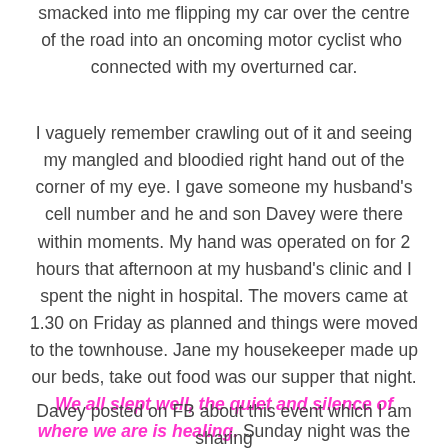smacked into me flipping my car over the centre of the road into an oncoming motor cyclist who connected with my overturned car.
I vaguely remember crawling out of it and seeing my mangled and bloodied right hand out of the corner of my eye. I gave someone my husband's cell number and he and son Davey were there within moments. My hand was operated on for 2 hours that afternoon at my husband's clinic and I spent the night in hospital. The movers came at 1.30 on Friday as planned and things were moved to the townhouse. Jane my housekeeper made up our beds, take out food was our supper that night. We all slept well, the quiet and silence of where we are is healing. Sunday night was the super moon.
Davey posted on FB about this event which I am sharing